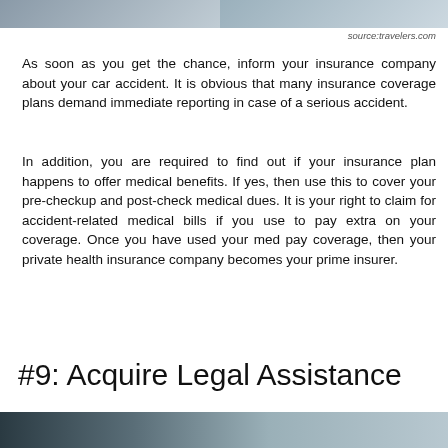[Figure (photo): Top portion of a photo showing two people, partially cropped at top of page]
source:travelers.com
As soon as you get the chance, inform your insurance company about your car accident. It is obvious that many insurance coverage plans demand immediate reporting in case of a serious accident.
In addition, you are required to find out if your insurance plan happens to offer medical benefits. If yes, then use this to cover your pre-checkup and post-check medical dues. It is your right to claim for accident-related medical bills if you use to pay extra on your coverage. Once you have used your med pay coverage, then your private health insurance company becomes your prime insurer.
#9: Acquire Legal Assistance
[Figure (photo): Bottom portion of a photo showing a person in a suit, partially cropped at bottom of page]